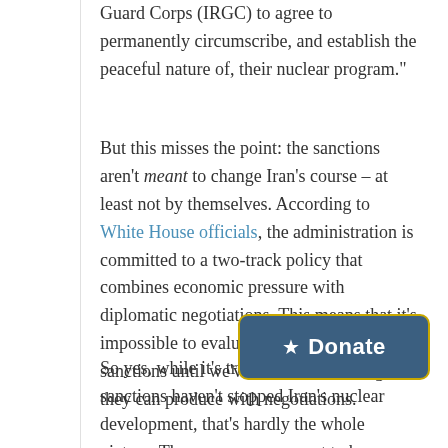Guard Corps (IRGC) to agree to permanently circumscribe, and establish the peaceful nature of, their nuclear program."
But this misses the point: the sanctions aren't meant to change Iran's course – at least not by themselves. According to White House officials, the administration is committed to a two-track policy that combines economic pressure with diplomatic negotiations. This means that it's impossible to evaluate the success of sanctions until we've seen what leverage they can produce with negotiations.
So yes, while it's true in a vacuum that sanctions haven't stopped Iran's nuclear develo... hardly the whole picture. There was ... be a straight line between sanctions and curbing Iran's nuclear program, because there's a crucial middle step – diplomacy. In other parts of the report
[Figure (other): Donate button with star icon, dark blue background with gold border]